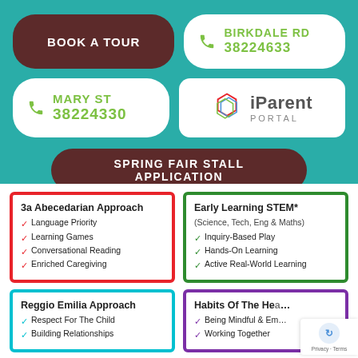[Figure (infographic): School/childcare centre information panel on teal background with buttons: BOOK A TOUR, BIRKDALE RD 38224633, MARY ST 38224330, iParent Portal, SPRING FAIR STALL APPLICATION]
3a Abecedarian Approach: Language Priority, Learning Games, Conversational Reading, Enriched Caregiving
Early Learning STEM* (Science, Tech, Eng & Maths): Inquiry-Based Play, Hands-On Learning, Active Real-World Learning
Reggio Emilia Approach: Respect For The Child, Building Relationships
Habits Of The He[art]: Being Mindful & Em[pathetic], Working Together